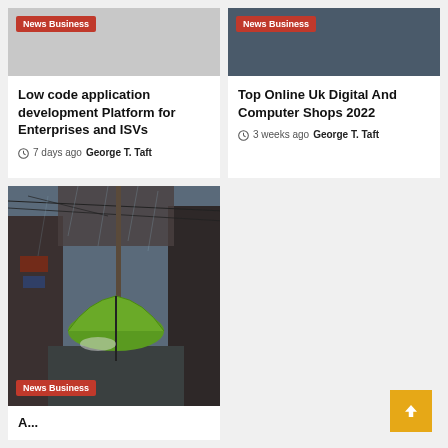[Figure (photo): Gray placeholder image with News Business badge, top left card]
Low code application development Platform for Enterprises and ISVs
7 days ago  George T. Taft
[Figure (photo): Dark photo with News Business badge, top right card]
Top Online Uk Digital And Computer Shops 2022
3 weeks ago  George T. Taft
[Figure (photo): Photo of rainy Asian alley with green umbrella and News Business badge]
A...